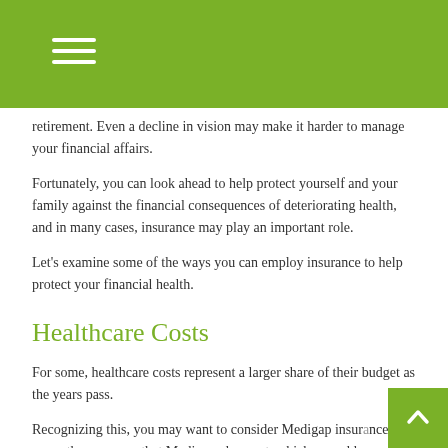retirement. Even a decline in vision may make it harder to manage your financial affairs.
Fortunately, you can look ahead to help protect yourself and your family against the financial consequences of deteriorating health, and in many cases, insurance may play an important role.
Let's examine some of the ways you can employ insurance to help protect your financial health.
Healthcare Costs
For some, healthcare costs represent a larger share of their budget as the years pass.
Recognizing this, you may want to consider Medigap insurance to cover the expenses that Medicare does not, which can add up quickly. You also might want to consider some form of